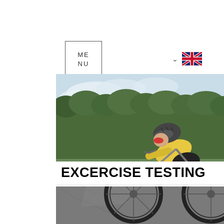[Figure (logo): MENU text inside a square border box, serving as navigation logo]
[Figure (illustration): UK flag icon with a chevron/dropdown arrow to its left, indicating language selector]
[Figure (photo): Cyclist wearing yellow jersey, dark helmet, and red sunglasses riding a road bike on a cracked asphalt road with a hedge/bush backdrop in the background]
EXCERCISE TESTING